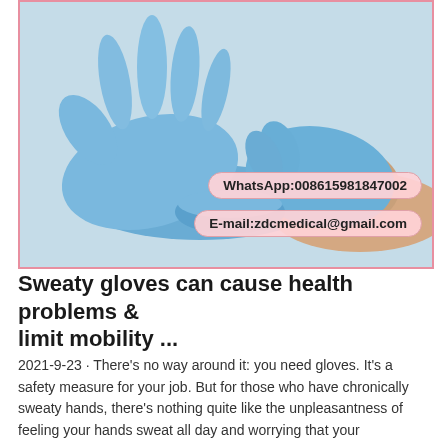[Figure (photo): A person wearing blue nitrile medical gloves, with one gloved hand extended flat and another gloved hand pulling at the wrist of the glove. Two contact badges overlay the image: WhatsApp:008615981847002 and E-mail:zdcmedical@gmail.com.]
Sweaty gloves can cause health problems & limit mobility ...
2021-9-23 · There's no way around it: you need gloves. It's a safety measure for your job. But for those who have chronically sweaty hands, there's nothing quite like the unpleasantness of feeling your hands sweat all day and worrying that your